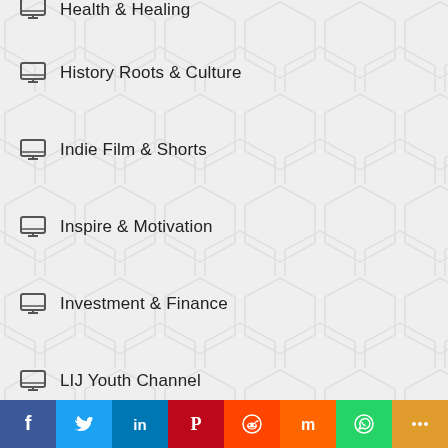Health & Healing (partial, cropped at top)
History Roots & Culture
Indie Film & Shorts
Inspire & Motivation
Investment & Finance
LIJ Youth Channel
Natural Beauty Tips
Nature & Mother Earth